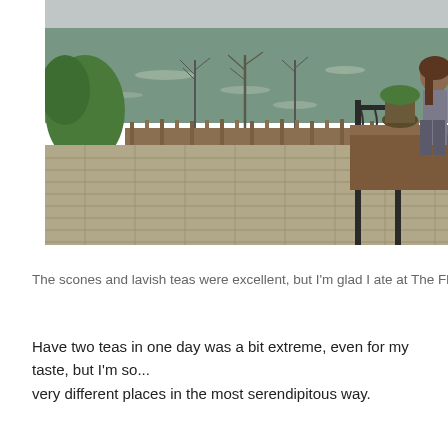[Figure (photo): Outdoor photo showing a riverside terrace or patio with brick paving, a wooden fence/barrier along the waterfront, bare trees and green shrubs near the water, murky greenish water in the background, and a person on the right side near a black iron railing with potted plants.]
The scones and lavish teas were excellent, but I'm glad I ate at The Flow...
Have two teas in one day was a bit extreme, even for my taste, but I'm so... very different places in the most serendipitous way.